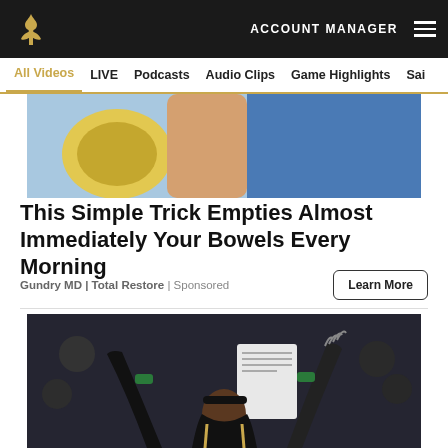ACCOUNT MANAGER
All Videos  LIVE  Podcasts  Audio Clips  Game Highlights  Sai
[Figure (photo): Partial photo of a person with yellow/blue garment visible]
This Simple Trick Empties Almost Immediately Your Bowels Every Morning
Gundry MD | Total Restore | Sponsored
[Figure (photo): Football player in black and gold New Orleans Saints uniform with arms raised holding a paper, crowd in background]